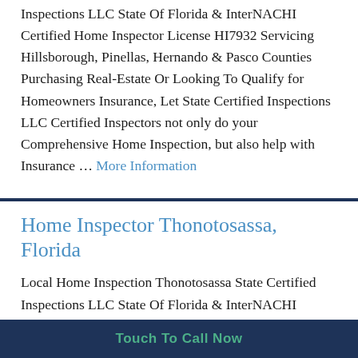Inspections LLC State Of Florida & InterNACHI Certified Home Inspector License HI7932 Servicing Hillsborough, Pinellas, Hernando & Pasco Counties Purchasing Real-Estate Or Looking To Qualify for Homeowners Insurance, Let State Certified Inspections LLC Certified Inspectors not only do your Comprehensive Home Inspection, but also help with Insurance … More Information
Home Inspector Thonotosassa, Florida
Local Home Inspection Thonotosassa State Certified Inspections LLC State Of Florida & InterNACHI Certified Home Inspector License HI7932 Servicing
Touch To Call Now